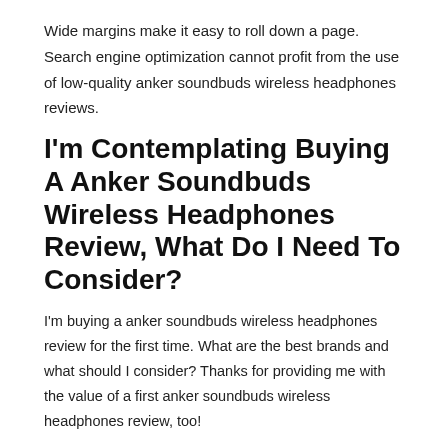Wide margins make it easy to roll down a page. Search engine optimization cannot profit from the use of low-quality anker soundbuds wireless headphones reviews.
I'm Contemplating Buying A Anker Soundbuds Wireless Headphones Review, What Do I Need To Consider?
I'm buying a anker soundbuds wireless headphones review for the first time. What are the best brands and what should I consider? Thanks for providing me with the value of a first anker soundbuds wireless headphones review, too!
Considerations should be made before purchasing a anker soundbuds wireless headphones review. It's a good idea to do some research online before choosing anker soundbuds wireless